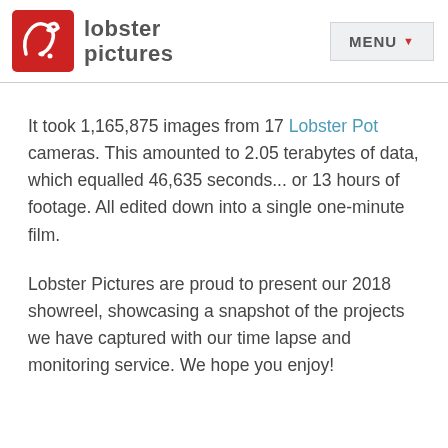[Figure (logo): Lobster Pictures logo: red square with white lobster claw icon, followed by bold gray text 'lobster pictures']
It took 1,165,875 images from 17 Lobster Pot cameras. This amounted to 2.05 terabytes of data, which equalled 46,635 seconds... or 13 hours of footage. All edited down into a single one-minute film.
Lobster Pictures are proud to present our 2018 showreel, showcasing a snapshot of the projects we have captured with our time lapse and monitoring service. We hope you enjoy!